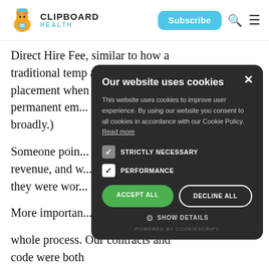CLIPBOARD HEALTH — Subscribe
Direct Hire Fee, similar to how a traditional temp agency gets a placement fee when they place a permanent employee. (For those unfamiliar with this context. The practice of "Direct Hire" happens broadly.)
Someone pointed out that we'd have gone to the trouble to build a marketplace, collect revenue, and we were already working with some healthcare organizations. In other words, they were working with us, suggesting that unpredictable demand...
More importantly, we owned the whole process. Our contracts and code were both
[Figure (screenshot): Cookie consent modal dialog on dark background with title 'Our website uses cookies', cookie description text, checkboxes for STRICTLY NECESSARY and PERFORMANCE, ACCEPT ALL and DECLINE ALL buttons, SHOW DETAILS option, and POWERED BY COOKIESCRIPT footer.]